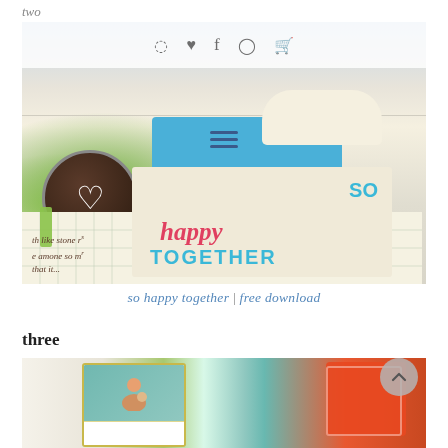two
[Figure (photo): Scrapbooking craft layout photo showing colorful paper elements including a brown button/badge with heart, blue cardstock, cream card with 'so happy together' stamp text, and grid paper with handwriting. A website toolbar overlay shows social media icons (Instagram, heart/like, Facebook, Pinterest, shopping cart) and a hamburger menu.]
so happy together | free download
three
[Figure (photo): Partial view of scrapbooking layout showing photo cards and colorful paper elements including green, teal, and orange/red accents.]